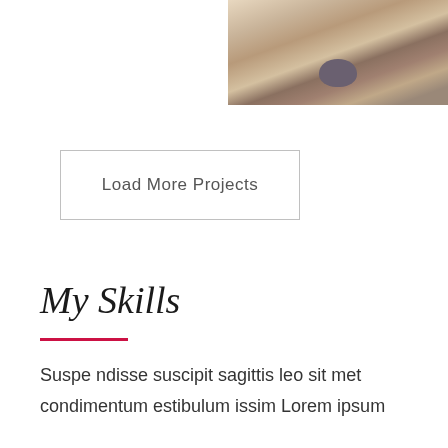[Figure (photo): Close-up photo of a wolf or dog face, showing the nose prominently, with light beige/tan fur, cropped at the top-right corner of the page]
Load More Projects
My Skills
Suspe ndisse suscipit sagittis leo sit met condimentum estibulum issim Lorem ipsum dolor sit amet...